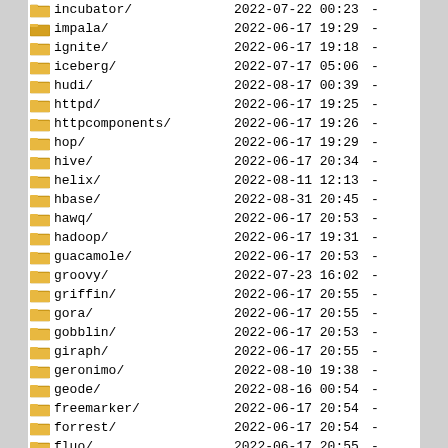| Name | Date | Size |
| --- | --- | --- |
| incubator/ | 2022-07-22 00:23 | - |
| impala/ | 2022-06-17 19:29 | - |
| ignite/ | 2022-06-17 19:18 | - |
| iceberg/ | 2022-07-17 05:06 | - |
| hudi/ | 2022-08-17 00:39 | - |
| httpd/ | 2022-06-17 19:25 | - |
| httpcomponents/ | 2022-06-17 19:26 | - |
| hop/ | 2022-06-17 19:29 | - |
| hive/ | 2022-06-17 20:34 | - |
| helix/ | 2022-08-11 12:13 | - |
| hbase/ | 2022-08-31 20:45 | - |
| hawq/ | 2022-06-17 20:53 | - |
| hadoop/ | 2022-06-17 19:31 | - |
| guacamole/ | 2022-06-17 20:53 | - |
| groovy/ | 2022-07-23 16:02 | - |
| griffin/ | 2022-06-17 20:55 | - |
| gora/ | 2022-06-17 20:55 | - |
| gobblin/ | 2022-06-17 20:53 | - |
| giraph/ | 2022-06-17 20:55 | - |
| geronimo/ | 2022-08-10 19:38 | - |
| geode/ | 2022-08-16 00:54 | - |
| freemarker/ | 2022-06-17 20:54 | - |
| forrest/ | 2022-06-17 20:54 | - |
| fluo/ | 2022-06-17 20:55 | - |